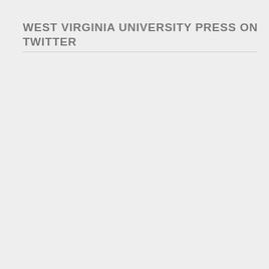WEST VIRGINIA UNIVERSITY PRESS ON TWITTER